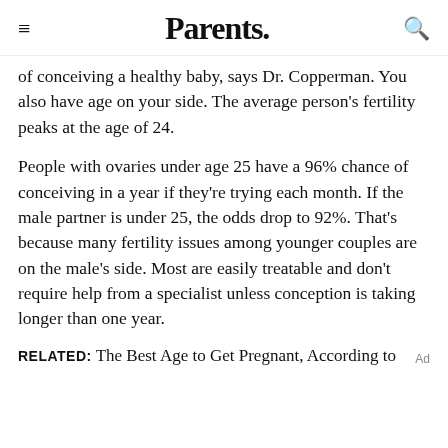Parents.
of conceiving a healthy baby, says Dr. Copperman. You also have age on your side. The average person's fertility peaks at the age of 24.
People with ovaries under age 25 have a 96% chance of conceiving in a year if they're trying each month. If the male partner is under 25, the odds drop to 92%. That's because many fertility issues among younger couples are on the male's side. Most are easily treatable and don't require help from a specialist unless conception is taking longer than one year.
RELATED: The Best Age to Get Pregnant, According to